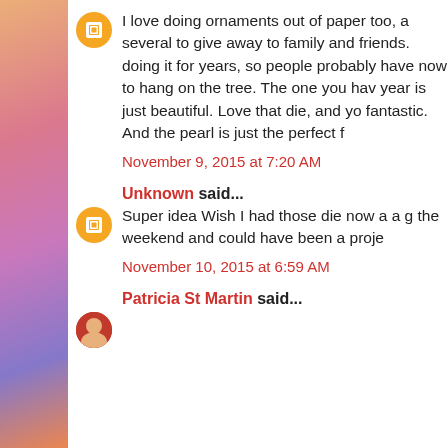I love doing ornaments out of paper too, a several to give away to family and friends. doing it for years, so people probably have now to hang on the tree. The one you hav year is just beautiful. Love that die, and yo fantastic. And the pearl is just the perfect f
November 9, 2015 at 7:20 AM
Unknown said...
Super idea Wish I had those die now a a g the weekend and could have been a proje
November 10, 2015 at 6:59 AM
Patricia St Martin said...